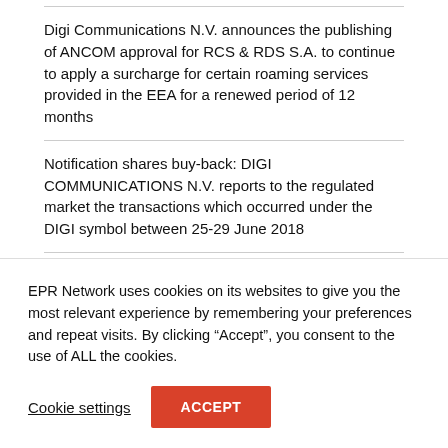Digi Communications N.V. announces the publishing of ANCOM approval for RCS & RDS S.A. to continue to apply a surcharge for certain roaming services provided in the EEA for a renewed period of 12 months
Notification shares buy-back: DIGI COMMUNICATIONS N.V. reports to the regulated market the transactions which occurred under the DIGI symbol between 25-29 June 2018
Euro Staff Solution: First 2 Employees are on Us
Press conference: Illegal sales of Schengen and Medical
EPR Network uses cookies on its websites to give you the most relevant experience by remembering your preferences and repeat visits. By clicking “Accept”, you consent to the use of ALL the cookies.